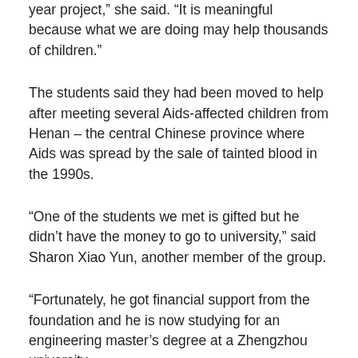year project,” she said. “It is meaningful because what we are doing may help thousands of children.”
The students said they had been moved to help after meeting several Aids-affected children from Henan – the central Chinese province where Aids was spread by the sale of tainted blood in the 1990s.
“One of the students we met is gifted but he didn’t have the money to go to university,” said Sharon Xiao Yun, another member of the group.
“Fortunately, he got financial support from the foundation and he is now studying for an engineering master’s degree at a Zhengzhou university.